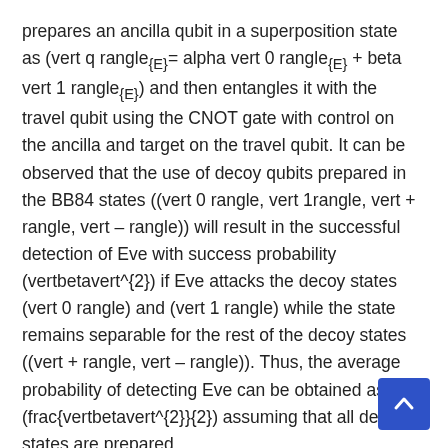prepares an ancilla qubit in a superposition state as (vert q rangle_{E}= alpha vert 0 rangle_{E} + beta vert 1 rangle_{E}) and then entangles it with the travel qubit using the CNOT gate with control on the ancilla and target on the travel qubit. It can be observed that the use of decoy qubits prepared in the BB84 states ((vert 0 rangle, vert 1rangle, vert + rangle, vert – rangle)) will result in the successful detection of Eve with success probability (vertbetavert^{2}) if Eve attacks the decoy states (vert 0 rangle) and (vert 1 rangle) while the state remains separable for the rest of the decoy states ((vert + rangle, vert – rangle)). Thus, the average probability of detecting Eve can be obtained as (frac{vertbetavert^{2}}{2}) assuming that all decoy states are prepared
[Figure (other): Scroll-to-top button (blue rounded square with upward arrow)]